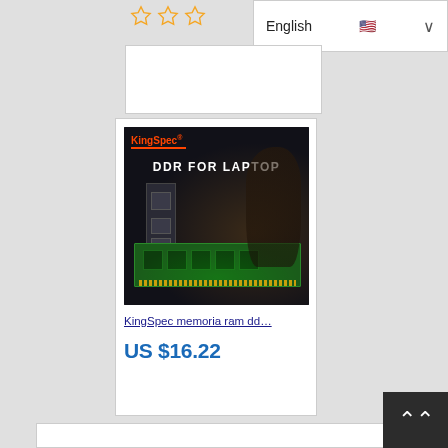[Figure (screenshot): English language selector dropdown with US flag icon and chevron arrow]
[Figure (screenshot): KingSpec DDR for Laptop RAM product card showing product image with green RAM module, product title 'KingSpec memoria ram dd...' and price US $16.22]
KingSpec memoria ram dd…
US $16.22